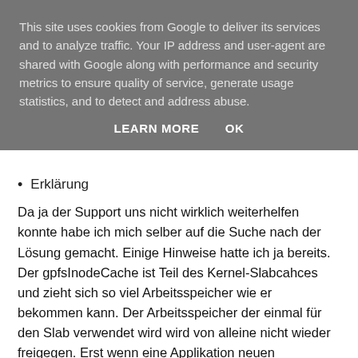This site uses cookies from Google to deliver its services and to analyze traffic. Your IP address and user-agent are shared with Google along with performance and security metrics to ensure quality of service, generate usage statistics, and to detect and address abuse.
LEARN MORE   OK
Erklärung
Da ja der Support uns nicht wirklich weiterhelfen konnte habe ich mich selber auf die Suche nach der Lösung gemacht. Einige Hinweise hatte ich ja bereits. Der gpfsInodeCache ist Teil des Kernel-Slabcahces und zieht sich so viel Arbeitsspeicher wie er bekommen kann. Der Arbeitsspeicher der einmal für den Slab verwendet wird wird von alleine nicht wieder freigegen. Erst wenn eine Applikation neuen Arbeitsspeicher beim Kernel anfragt wird der Slab verkleinert und der Prozess bekommt seinen angefragten Arbeitsspeicher.
Das habe ich wie folgt überprüft